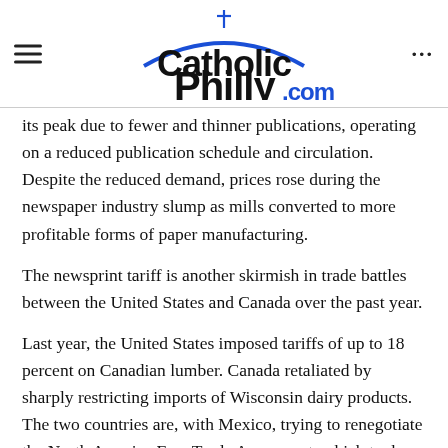CatholicPhilly.com
its peak due to fewer and thinner publications, operating on a reduced publication schedule and circulation. Despite the reduced demand, prices rose during the newspaper industry slump as mills converted to more profitable forms of paper manufacturing.
The newsprint tariff is another skirmish in trade battles between the United States and Canada over the past year.
Last year, the United States imposed tariffs of up to 18 percent on Canadian lumber. Canada retaliated by sharply restricting imports of Wisconsin dairy products. The two countries are, with Mexico, trying to renegotiate the North America Free Trade Agreement, which took effect in 1994. Some progress in